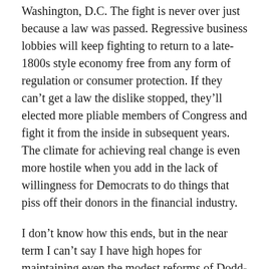Washington, D.C. The fight is never over just because a law was passed. Regressive business lobbies will keep fighting to return to a late-1800s style economy free from any form of regulation or consumer protection. If they can't get a law the dislike stopped, they'll elected more pliable members of Congress and fight it from the inside in subsequent years. The climate for achieving real change is even more hostile when you add in the lack of willingness for Democrats to do things that piss off their donors in the financial industry.
I don't know how this ends, but in the near term I can't say I have high hopes for maintaining even the modest reforms of Dodd-Frank in the absence of a massive public outcry against the finance industry's efforts to continue to deregulate after the financial collapse of 2008.